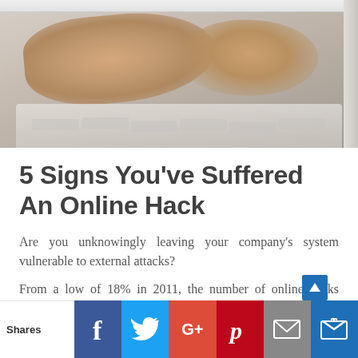[Figure (photo): Hands typing on a white Apple keyboard in front of an iMac monitor, close-up photo]
5 Signs You've Suffered An Online Hack
Are you unknowingly leaving your company's system vulnerable to external attacks?
From a low of 18% in 2011, the number of online hacks targeting small businesses has risen to 43% in 2016. And this figure is expected to rise in